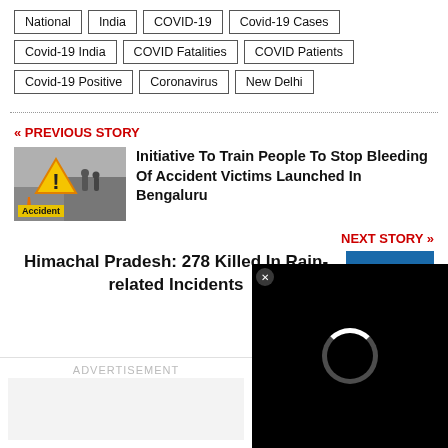National
India
COVID-19
Covid-19 Cases
Covid-19 India
COVID Fatalities
COVID Patients
Covid-19 Positive
Coronavirus
New Delhi
« PREVIOUS STORY
[Figure (photo): Yellow warning triangle with exclamation mark, accident scene with emergency responders, Accident label at bottom]
Initiative To Train People To Stop Bleeding Of Accident Victims Launched In Bengaluru
NEXT STORY »
Himachal Pradesh: 278 Killed In Rain-related Incidents
[Figure (photo): Thumbnail image with blue and green colors]
ADVERTISEMENT
[Figure (screenshot): Black video overlay with loading spinner]